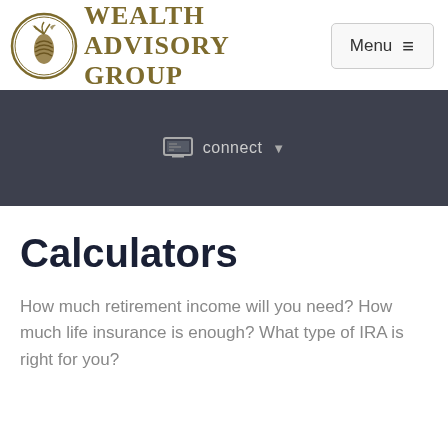[Figure (logo): Wealth Advisory Group logo with pine cone in oval and gold text]
[Figure (screenshot): Menu button with hamburger icon in top right]
[Figure (infographic): Dark navigation bar with connect dropdown button and monitor icon]
Calculators
How much retirement income will you need? How much life insurance is enough? What type of IRA is right for you?